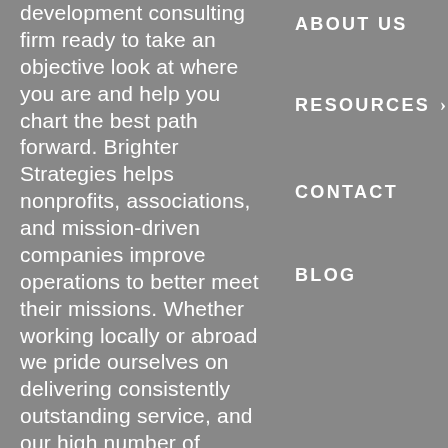development consulting firm ready to take an objective look at where you are and help you chart the best path forward. Brighter Strategies helps nonprofits, associations, and mission-driven companies improve operations to better meet their missions. Whether working locally or abroad we pride ourselves on delivering consistently outstanding service, and our high number of referrals shows it.
ABOUT US
RESOURCES ›
CONTACT
BLOG